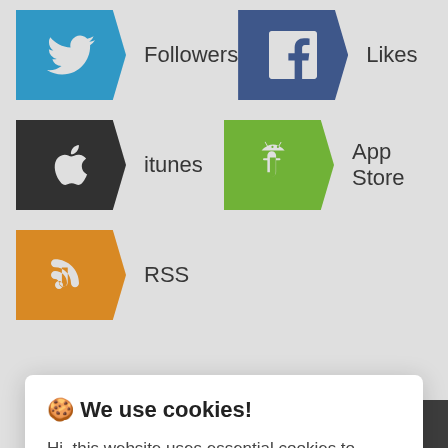[Figure (screenshot): Social media follow icons showing Twitter Followers, Facebook Likes, iTunes, Android App Store, and RSS labels with arrow-shaped colored icon boxes]
🍪 We use cookies!

Hi, this website uses essential cookies to ensure its proper operation and tracking cookies to understand how you interact with it. The latter will be set only after consent. Let me choose

Accept all

Reject all